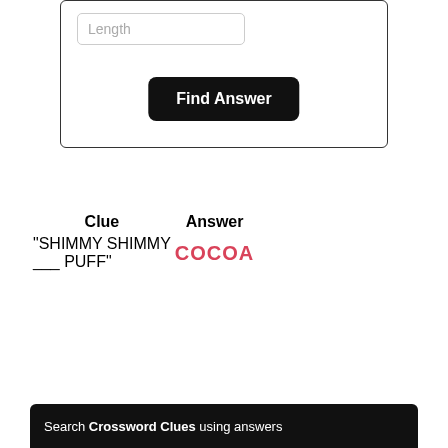[Figure (screenshot): Input field with placeholder text 'Length' inside a bordered box, with a dark 'Find Answer' button below it]
| Clue | Answer |
| --- | --- |
| "SHIMMY SHIMMY ___ PUFF" | COCOA |
Search Crossword Clues using answers